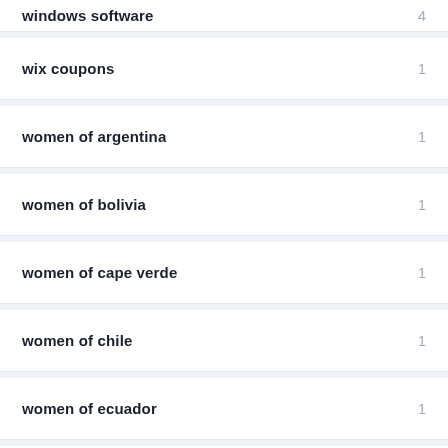windows software	4
wix coupons	1
women of argentina	1
women of bolivia	1
women of cape verde	1
women of chile	1
women of ecuador	1
women of portugal	1
порнуха для умного Жени	1